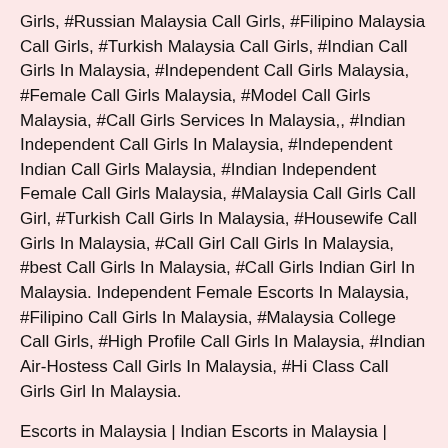Girls, #Russian Malaysia Call Girls, #Filipino Malaysia Call Girls, #Turkish Malaysia Call Girls, #Indian Call Girls In Malaysia, #Independent Call Girls Malaysia, #Female Call Girls Malaysia, #Model Call Girls Malaysia, #Call Girls Services In Malaysia,, #Indian Independent Call Girls In Malaysia, #Independent Indian Call Girls Malaysia, #Indian Independent Female Call Girls Malaysia, #Malaysia Call Girls Call Girl, #Turkish Call Girls In Malaysia, #Housewife Call Girls In Malaysia, #Call Girl Call Girls In Malaysia, #best Call Girls In Malaysia, #Call Girls Indian Girl In Malaysia. Independent Female Escorts In Malaysia, #Filipino Call Girls In Malaysia, #Malaysia College Call Girls, #High Profile Call Girls In Malaysia, #Indian Air-Hostess Call Girls In Malaysia, #Hi Class Call Girls Girl In Malaysia.
Escorts in Malaysia | Indian Escorts in Malaysia | Malaysia Escorts   | Escorts Services in Malaysia | Malaysia companions | Malaysia Call Girl Escorts | Malaysia Escorts Agency | Escorts Agency in Malaysia | Malaysia Social Escorts | Malaysia Escorts Services |